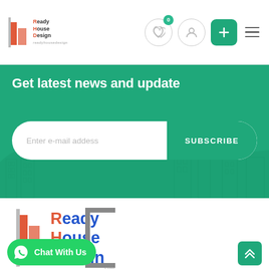[Figure (logo): Ready House Design logo — small version in header with icon and text]
[Figure (infographic): Heart icon circle with badge showing 0, user icon circle, green plus button, hamburger menu — navigation icons in header]
Get latest news and update
Enter e-mail addess
SUBSCRIBE
[Figure (logo): Ready House Design large logo with red R, H, D letters and blue text, gray bracket, and .com suffix]
Chat With Us
[Figure (illustration): Green scroll-to-top button with double up arrows]